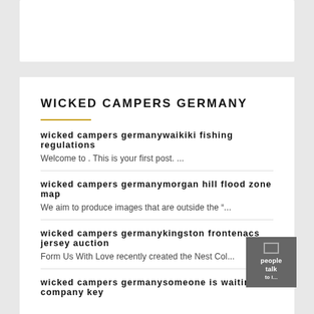WICKED CAMPERS GERMANY
wicked campers germanywaikiki fishing regulations
Welcome to . This is your first post. ...
wicked campers germanymorgan hill flood zone map
We aim to produce images that are outside the “...
wicked campers germanykingston frontenacs jersey auction
Form Us With Love recently created the Nest Col...
wicked campers germanysomeone is waiting company key